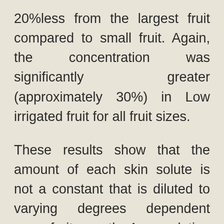20%less from the largest fruit compared to small fruit. Again, the concentration was significantly greater (approximately 30%) in Low irrigated fruit for all fruit sizes.
These results show that the amount of each skin solute is not a constant that is diluted to varying degrees dependent upon fruit growth. Accumulation of skin solute is coordinated with growth. Accordingly, oft observed changes in fruit composition caused by water deficits are not attributable simply to differences in berry growth. There